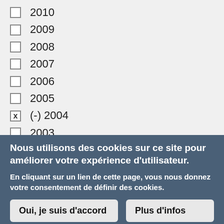2010
2009
2008
2007
2006
2005
(-) 2004
2003
2002
Nous utilisons des cookies sur ce site pour améliorer votre expérience d'utilisateur.
En cliquant sur un lien de cette page, vous nous donnez votre consentement de définir des cookies.
Oui, je suis d'accord
Plus d'infos